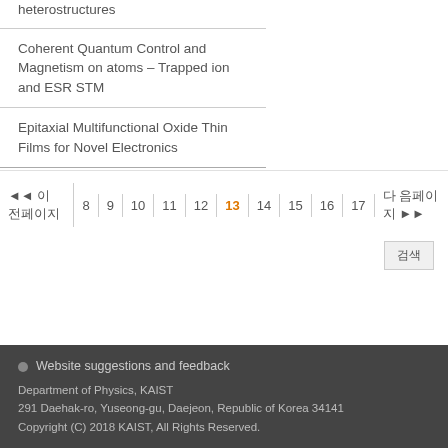heterostructures
Coherent Quantum Control and Magnetism on atoms – Trapped ion and ESR STM
Epitaxial Multifunctional Oxide Thin Films for Novel Electronics
◄◄ 이 전페이지  8  9  10  11  12  13  14  15  16  17  다 음페이지 ►►
검색
Website suggestions and feedback
Department of Physics, KAIST
291 Daehak-ro, Yuseong-gu, Daejeon, Republic of Korea 34141
Copyright (C) 2018 KAIST, All Rights Reserved.